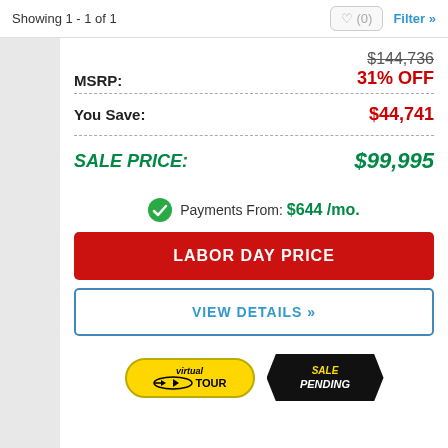Showing 1 - 1 of 1
MSRP: $144,736 31% OFF
You Save: $44,741
SALE PRICE: $99,995
Payments From: $644 /mo.
LABOR DAY PRICE
VIEW DETAILS »
[Figure (other): Virtual Tour badge (yellow oval) and Sale Pending badge (black burst shape)]